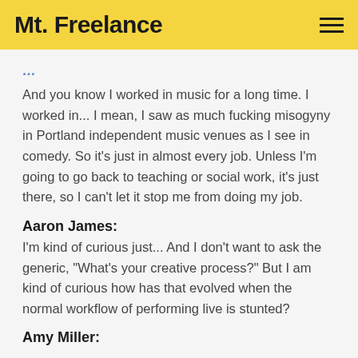Mt. Freelance
And you know I worked in music for a long time. I worked in... I mean, I saw as much fucking misogyny in Portland independent music venues as I see in comedy. So it's just in almost every job. Unless I'm going to go back to teaching or social work, it's just there, so I can't let it stop me from doing my job.
Aaron James:
I'm kind of curious just... And I don't want to ask the generic, "What's your creative process?" But I am kind of curious how has that evolved when the normal workflow of performing live is stunted?
Amy Miller: